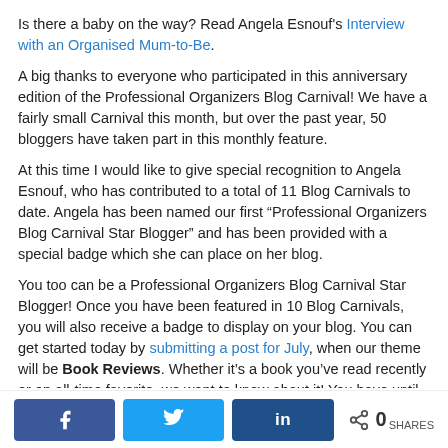Is there a baby on the way? Read Angela Esnouf's Interview with an Organised Mum-to-Be.
A big thanks to everyone who participated in this anniversary edition of the Professional Organizers Blog Carnival! We have a fairly small Carnival this month, but over the past year, 50 bloggers have taken part in this monthly feature.
At this time I would like to give special recognition to Angela Esnouf, who has contributed to a total of 11 Blog Carnivals to date. Angela has been named our first “Professional Organizers Blog Carnival Star Blogger” and has been provided with a special badge which she can place on her blog.
You too can be a Professional Organizers Blog Carnival Star Blogger! Once you have been featured in 10 Blog Carnivals, you will also receive a badge to display on your blog. You can get started today by submitting a post for July, when our theme will be Book Reviews. Whether it’s a book you’ve read recently or an all-time favorite, we want to know about it! You have until Monday, July 12 to make your submission, so you’ve got plenty of